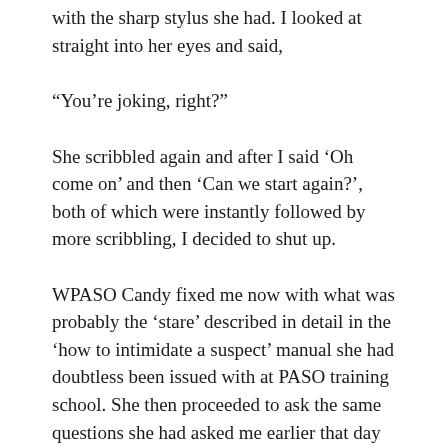with the sharp stylus she had. I looked at straight into her eyes and said,
“You’re joking, right?”
She scribbled again and after I said ‘Oh come on’ and then ‘Can we start again?’, both of which were instantly followed by more scribbling, I decided to shut up.
WPASO Candy fixed me now with what was probably the ‘stare’ described in detail in the ‘how to intimidate a suspect’ manual she had doubtless been issued with at PASO training school. She then proceeded to ask the same questions she had asked me earlier that day on the air, straightening her nibbling hand...